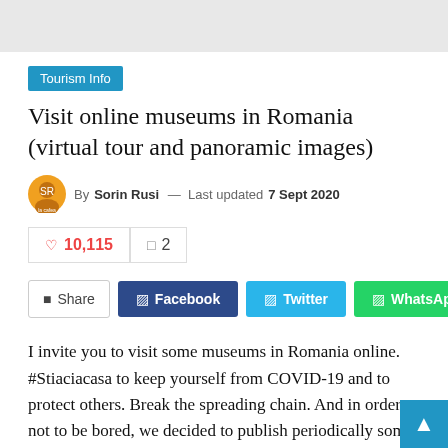[Figure (other): Gray banner image placeholder at top of page]
Tourism Info
Visit online museums in Romania (virtual tour and panoramic images)
By Sorin Rusi — Last updated 7 Sept 2020
10,115 views  2 comments
Share  Facebook  Twitter  WhatsApp
I invite you to visit some museums in Romania online. #Stiaciacasa to keep yourself from COVID-19 and to protect others. Break the spreading chain. And in order not to be bored, we decided to publish periodically some useful and educational information in the area of travel, virtual travel,